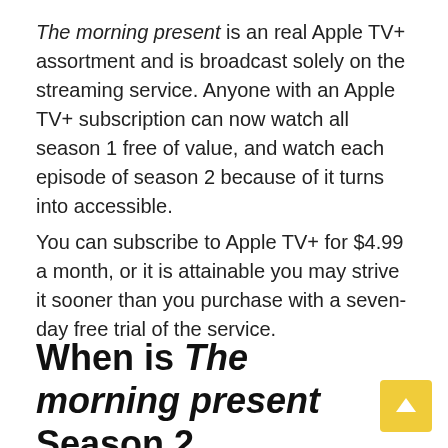The morning present is an real Apple TV+ assortment and is broadcast solely on the streaming service. Anyone with an Apple TV+ subscription can now watch all season 1 free of value, and watch each episode of season 2 because of it turns into accessible.
You can subscribe to Apple TV+ for $4.99 a month, or it is attainable you may strive it sooner than you purchase with a seven-day free trial of the service.
When is The morning present Season 2